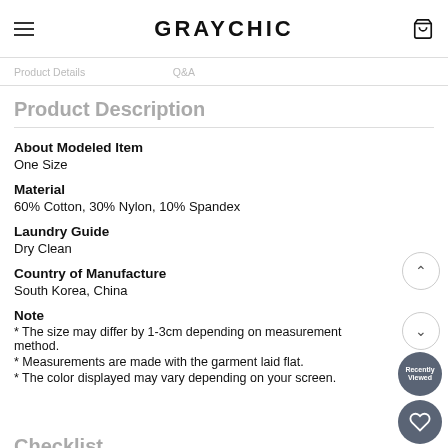GRAYCHIC
Product Details
Product Description
About Modeled Item
One Size
Material
60% Cotton, 30% Nylon, 10% Spandex
Laundry Guide
Dry Clean
Country of Manufacture
South Korea, China
Note
* The size may differ by 1-3cm depending on measurement method.
* Measurements are made with the garment laid flat.
* The color displayed may vary depending on your screen.
Checklist